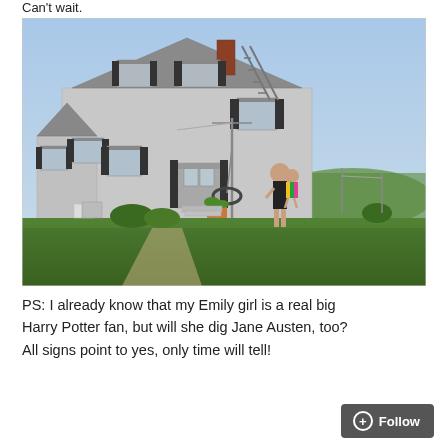Can't wait.
[Figure (photo): A two-story white house with dark shutters, green lawn, a tire swing hanging from a pole, a ladder leaning against the roof, and two people (an adult holding a child) standing in the yard. Green fields visible in the background under a blue sky.]
PS: I already know that my Emily girl is a real big Harry Potter fan, but will she dig Jane Austen, too? All signs point to yes, only time will tell!